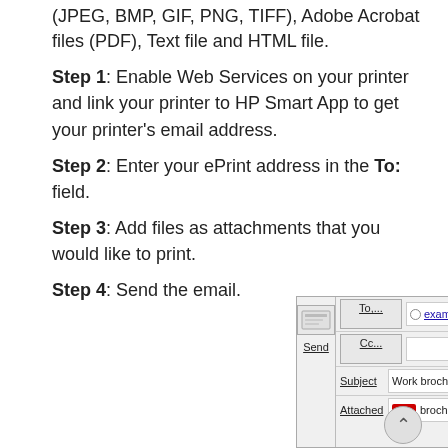(JPEG, BMP, GIF, PNG, TIFF), Adobe Acrobat files (PDF), Text file and HTML file.
Step 1: Enable Web Services on your printer and link your printer to HP Smart App to get your printer's email address.
Step 2: Enter your ePrint address in the To: field.
Step 3: Add files as attachments that you would like to print.
Step 4: Send the email.
[Figure (screenshot): Email compose window showing To field with exampleHPprinter@hpeprint.com, Cc field, Subject field with 'Work brochure ePrint job', and Attached field with brochure.pdf. Send button visible on left.]